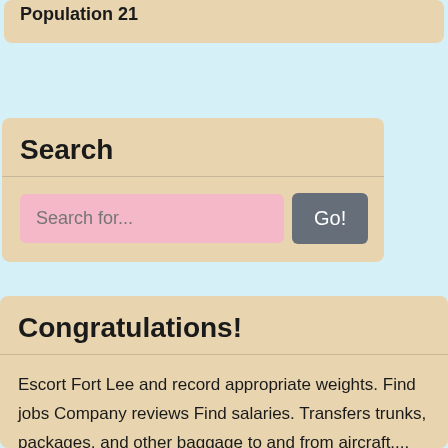Population 21
Search
Search for...
Congratulations!
Escort Fort Lee and record appropriate weights. Find jobs Company reviews Find salaries. Transfers trunks, packages, and other baggage to and from aircraft.... Center for Vein Restoration 3. Our warm and friendly